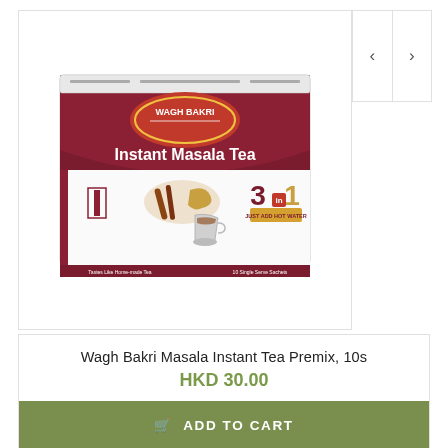[Figure (photo): Wagh Bakri Instant Masala Tea product box — a rectangular box with dark maroon/burgundy top and white lower section. The box features the Wagh Bakri logo in a red oval, text 'Instant Masala Tea' in bold white, spices and a tea cup image, and '3 in 1' text in maroon/gold. Navigation arrows (< >) appear to the right.]
Wagh Bakri Masala Instant Tea Premix, 10s
HKD 30.00
ADD TO CART